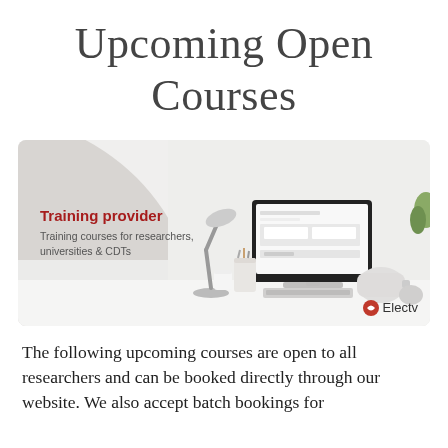Upcoming Open Courses
[Figure (illustration): A training provider promotional banner with 'Training provider' headline in red, subtitle 'Training courses for researchers, universities & CDTs', a desktop computer with website on screen, a desk lamp, stationery cup, and tea kettle on a white desk surface. Grey curved background shape on the left. Electv logo in bottom right.]
The following upcoming courses are open to all researchers and can be booked directly through our website. We also accept batch bookings for